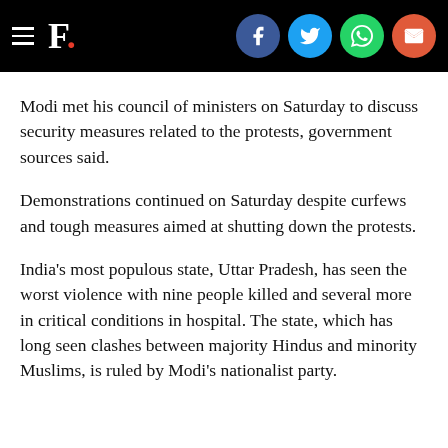F. [with social share icons: Facebook, Twitter, WhatsApp, Email]
Modi met his council of ministers on Saturday to discuss security measures related to the protests, government sources said.
Demonstrations continued on Saturday despite curfews and tough measures aimed at shutting down the protests.
India's most populous state, Uttar Pradesh, has seen the worst violence with nine people killed and several more in critical conditions in hospital. The state, which has long seen clashes between majority Hindus and minority Muslims, is ruled by Modi's nationalist party.